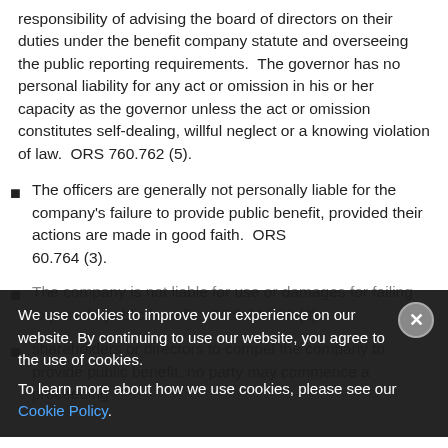responsibility of advising the board of directors on their duties under the benefit company statute and overseeing the public reporting requirements.  The governor has no personal liability for any act or omission in his or her capacity as the governor unless the act or omission constitutes self-dealing, willful neglect or a knowing violation of law.  ORS 760.762 (5).
The officers are generally not personally liable for the company's failure to provide public benefit, provided their actions are made in good faith.  ORS 60.764 (3).
The company is not liable for use or damages for failing to provide public benefit.  ORS 60.766 (3).
shareholders or directors to compel the company to provide public benefit, no party may commence a proceeding